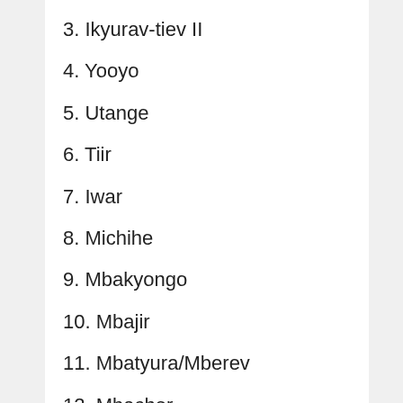3. Ikyurav-tiev II
4. Yooyo
5. Utange
6. Tiir
7. Iwar
8. Michihe
9. Mbakyongo
10. Mbajir
11. Mbatyura/Mberev
12. Mbacher